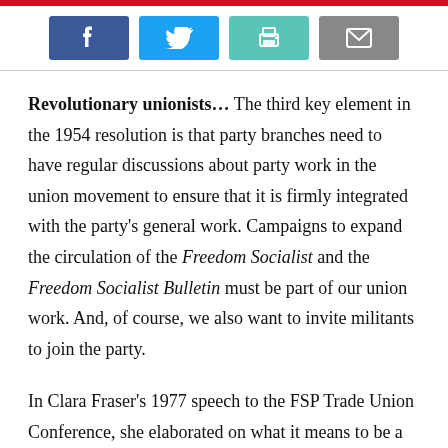[Figure (other): Social sharing buttons: Facebook (blue), Twitter (light blue), Print (teal), Email (gray)]
Revolutionary unionists… The third key element in the 1954 resolution is that party branches need to have regular discussions about party work in the union movement to ensure that it is firmly integrated with the party's general work. Campaigns to expand the circulation of the Freedom Socialist and the Freedom Socialist Bulletin must be part of our union work. And, of course, we also want to invite militants to join the party.
In Clara Fraser's 1977 speech to the FSP Trade Union Conference, she elaborated on what it means to be a